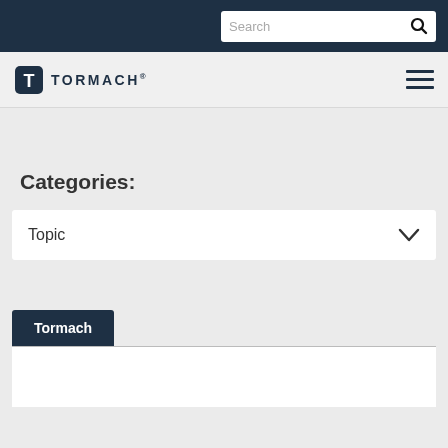Search (search bar with icon)
[Figure (logo): Tormach logo with T icon and TORMACH wordmark, plus hamburger menu icon]
Categories:
Topic (dropdown selector with chevron)
Tormach (tab button)